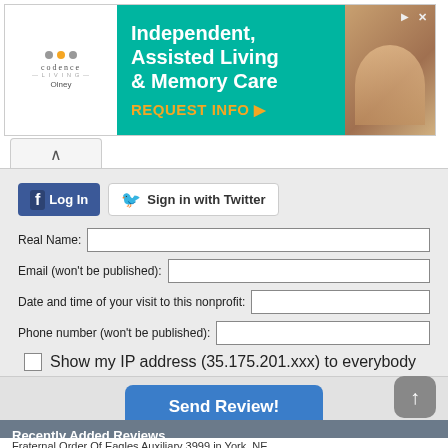[Figure (infographic): Advertisement banner for Codence Living Olney - Independent, Assisted Living & Memory Care with REQUEST INFO button]
Log In
Sign in with Twitter
Real Name:
Email (won't be published):
Date and time of your visit to this nonprofit:
Phone number (won't be published):
Show my IP address (35.175.201.xxx) to everybody
Leave your signature»
Send Review!
Recently Added Reviews
Fraternal Order Of Eagles Auxiliary 3999 in York, NE